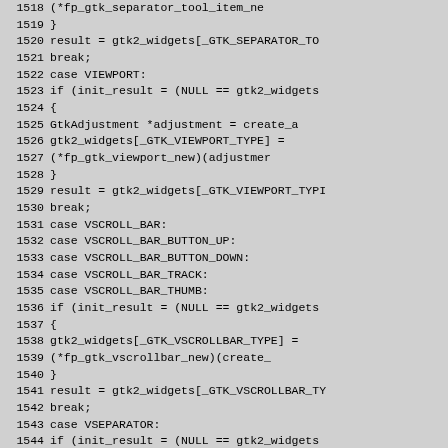Source code listing, lines 1518-1547, showing GTK2 widget initialization switch-case code in C